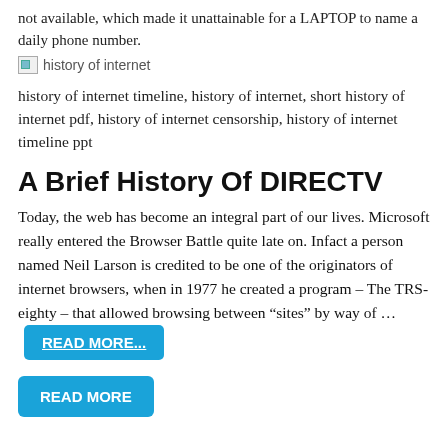not available, which made it unattainable for a LAPTOP to name a daily phone number.
[Figure (photo): Broken image placeholder labeled 'history of internet']
history of internet
history of internet timeline, history of internet, short history of internet pdf, history of internet censorship, history of internet timeline ppt
A Brief History Of DIRECTV
Today, the web has become an integral part of our lives. Microsoft really entered the Browser Battle quite late on. Infact a person named Neil Larson is credited to be one of the originators of internet browsers, when in 1977 he created a program – The TRS-eighty – that allowed browsing between “sites” by way of …
READ MORE...
READ MORE